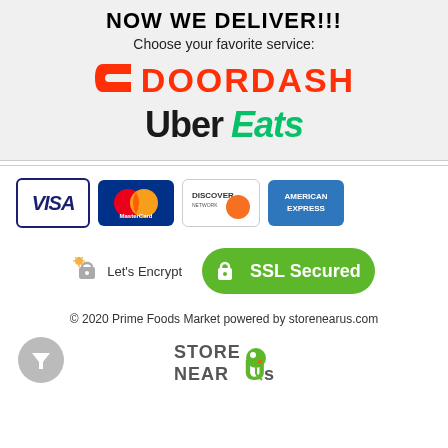NOW WE DELIVER!!!
Choose your favorite service:
[Figure (logo): DoorDash logo with red chevron and red bold wordmark]
[Figure (logo): Uber Eats logo with black Uber and green Eats text]
[Figure (logo): Payment card logos: Visa, MasterCard, Discover, American Express]
[Figure (logo): Let's Encrypt badge and SSL Secured green badge]
© 2020 Prime Foods Market powered by storenearus.com
[Figure (logo): StoreNearUs logo and filter icon button]